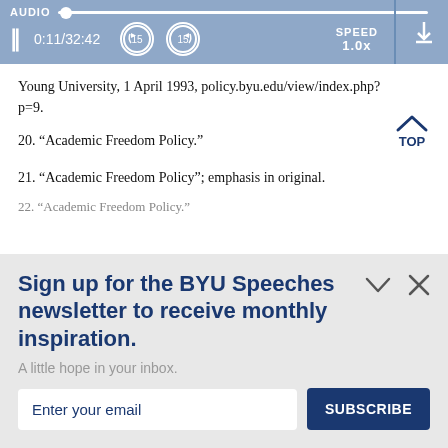[Figure (screenshot): Audio player bar with pause button, time display 0:11/32:42, rewind 15s, forward 15s buttons, speed 1.0x, and download icon on a blue-gray background]
Young University, 1 April 1993, policy.byu.edu/view/index.php?p=9.
20. “Academic Freedom Policy.”
21. “Academic Freedom Policy”; emphasis in original.
22. “Academic Freedom Policy.”
Sign up for the BYU Speeches newsletter to receive monthly inspiration.
A little hope in your inbox.
Enter your email
SUBSCRIBE